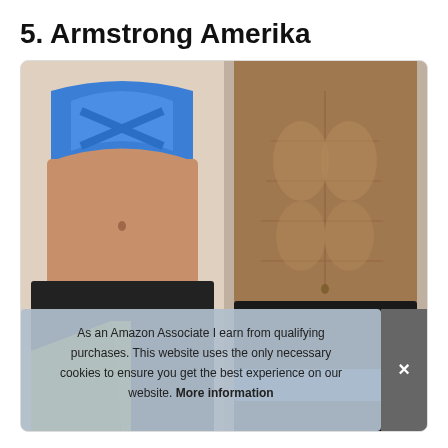5. Armstrong Amerika
[Figure (photo): Two fitness models showing midriffs wearing athletic wear. Left: woman in blue sports bra and black/yellow shorts. Right: muscular man with defined abs wearing black shorts with blue underwear visible at waistband. Cookie consent banner overlaid at bottom reading: As an Amazon Associate I earn from qualifying purchases. This website uses the only necessary cookies to ensure you get the best experience on our website. More information]
As an Amazon Associate I earn from qualifying purchases. This website uses the only necessary cookies to ensure you get the best experience on our website. More information